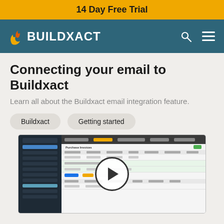14 Day Free Trial
[Figure (logo): Buildxact logo with flame icon on teal navigation bar with search and menu icons]
Connecting your email to Buildxact
Learn all about the Buildxact email integration feature.
Buildxact
Getting started
[Figure (screenshot): Screenshot of Buildxact application interface showing a purchase orders or invoices table with a play button overlay indicating a video tutorial]